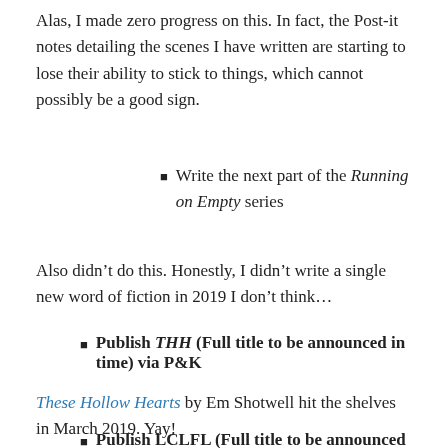Alas, I made zero progress on this. In fact, the Post-it notes detailing the scenes I have written are starting to lose their ability to stick to things, which cannot possibly be a good sign.
Write the next part of the Running on Empty series
Also didn't do this. Honestly, I didn't write a single new word of fiction in 2019 I don't think…
Publish THH (Full title to be announced in time) via P&K
These Hollow Hearts by Em Shotwell hit the shelves in March 2019. Yay!
Publish LCLFL (Full title to be announced...